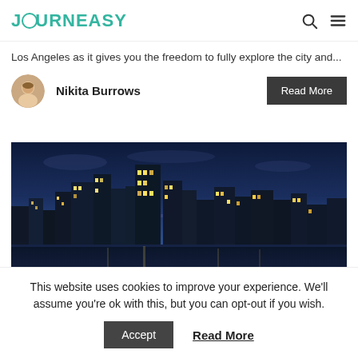Los Angeles Car Rental
JOURNEASY
Los Angeles as it gives you the freedom to fully explore the city and...
Nikita Burrows
[Figure (photo): City skyline at dusk/night with illuminated skyscrapers against a blue twilight sky]
This website uses cookies to improve your experience. We'll assume you're ok with this, but you can opt-out if you wish.
Accept
Read More